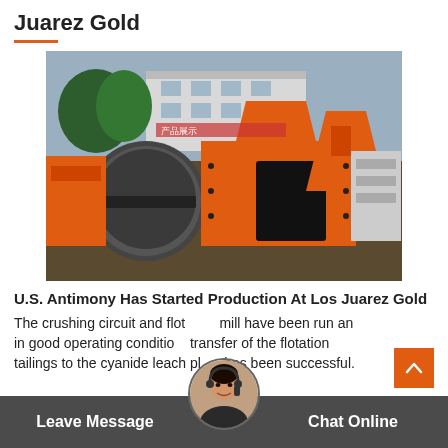Juarez Gold
[Figure (photo): Industrial orange mining/milling equipment including a large drum mill and crushers in an outdoor yard with a building and trees in the background.]
U.S. Antimony Has Started Production At Los Juarez Gold
The crushing circuit and flotation mill have been run and in good operating condition. Transfer of the flotation tailings to the cyanide leach plant has been successful.